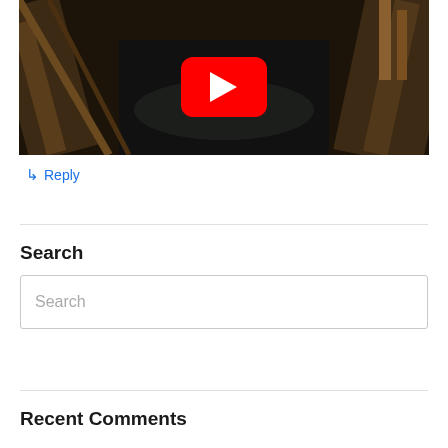[Figure (screenshot): YouTube video thumbnail showing a dark architectural scene (overhead view of beams and structures) with a red YouTube play button in the center]
↵ Reply
Search
Search
Recent Comments